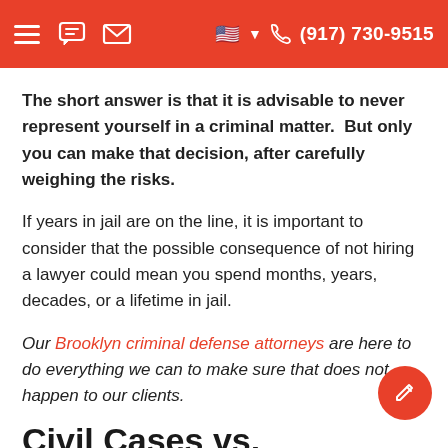(917) 730-9515
The short answer is that it is advisable to never represent yourself in a criminal matter.  But only you can make that decision, after carefully weighing the risks.
If years in jail are on the line, it is important to consider that the possible consequence of not hiring a lawyer could mean you spend months, years, decades, or a lifetime in jail.
Our Brooklyn criminal defense attorneys are here to do everything we can to make sure that does not happen to our clients.
Civil Cases vs. Criminal Cases